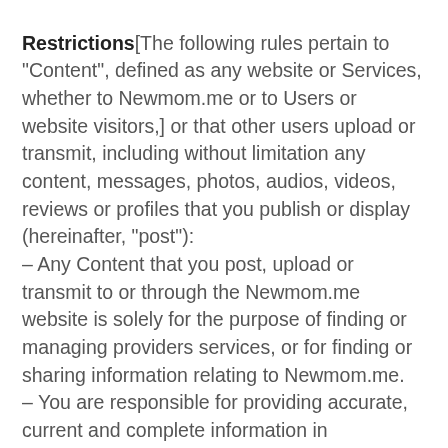Restrictions[The following rules pertain to "Content", defined as any website or Services, whether to Newmom.me or to Users or website visitors,] or that other users upload or transmit, including without limitation any content, messages, photos, audios, videos, reviews or profiles that you publish or display (hereinafter, "post"): – Any Content that you post, upload or transmit to or through the Newmom.me website is solely for the purpose of finding or managing providers services, or for finding or sharing information relating to Newmom.me. – You are responsible for providing accurate, current and complete information in connection